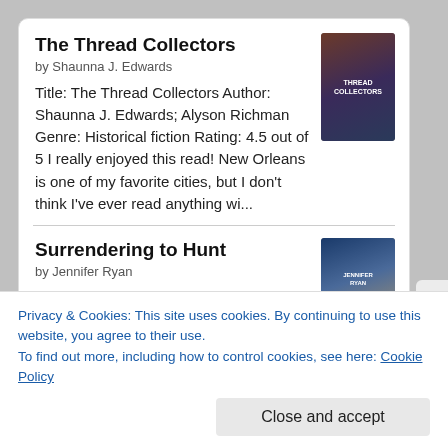The Thread Collectors
by Shaunna J. Edwards
Title: The Thread Collectors Author: Shaunna J. Edwards; Alyson Richman Genre: Historical fiction Rating: 4.5 out of 5 I really enjoyed this read! New Orleans is one of my favorite cities, but I don't think I've ever read anything wi...
[Figure (illustration): Book cover for The Thread Collectors]
Surrendering to Hunt
by Jennifer Ryan
Title: Surrendering to Hunt Author: Jennifer Ryan Genre: Romance Rating: 4.0 out of 5 This was a decent read—and actually made small-town, western life sound
[Figure (illustration): Book cover for Surrendering to Hunt by Jennifer Ryan]
Privacy & Cookies: This site uses cookies. By continuing to use this website, you agree to their use.
To find out more, including how to control cookies, see here: Cookie Policy